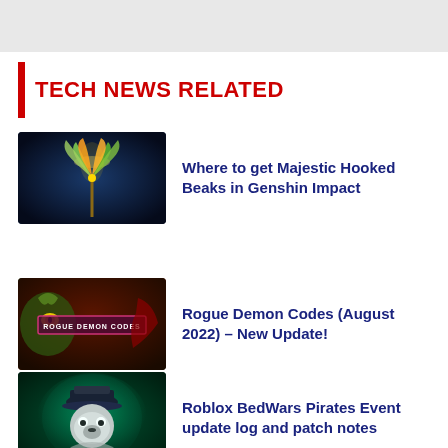[Figure (other): Gray banner at top of page]
TECH NEWS RELATED
[Figure (photo): Genshin Impact Majestic Hooked Beaks item - glowing plant/feather weapon on dark blue background]
Where to get Majestic Hooked Beaks in Genshin Impact
[Figure (photo): Rogue Demon Codes thumbnail - anime demon character with text overlay ROGUE DEMON CODES]
Rogue Demon Codes (August 2022) – New Update!
[Figure (photo): Roblox BedWars Pirates Event - pirate bear character in teal lighting]
Roblox BedWars Pirates Event update log and patch notes